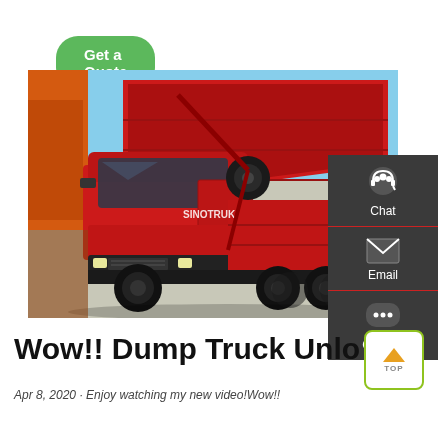Get a Quote
[Figure (photo): Red SINOTRUK dump truck parked in a yard with a raised red cargo bed, multiple rear axles, blue sky background]
Chat
Email
Contact
Wow!! Dump Truck Unload
Apr 8, 2020 · Enjoy watching my new video!Wow!!